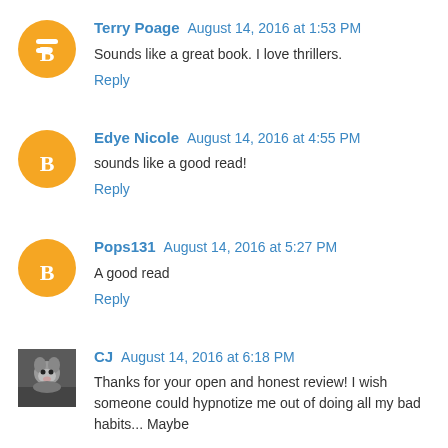Terry Poage  August 14, 2016 at 1:53 PM
Sounds like a great book. I love thrillers.
Reply
Edye Nicole  August 14, 2016 at 4:55 PM
sounds like a good read!
Reply
Pops131  August 14, 2016 at 5:27 PM
A good read
Reply
CJ  August 14, 2016 at 6:18 PM
Thanks for your open and honest review! I wish someone could hypnotize me out of doing all my bad habits... Maybe